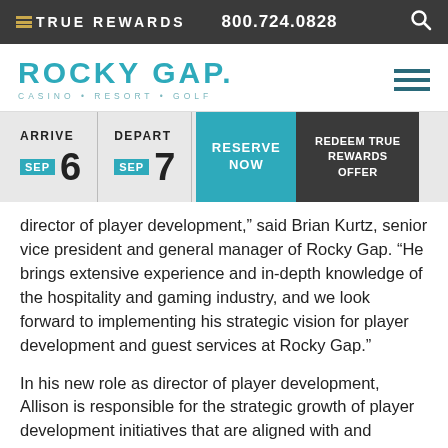TRUE REWARDS  800.724.0828
[Figure (logo): Rocky Gap Casino Resort Golf logo in teal/cyan color]
[Figure (infographic): Booking bar with ARRIVE SEP 6, DEPART SEP 7, RESERVE NOW button, REDEEM TRUE REWARDS OFFER button]
director of player development,” said Brian Kurtz, senior vice president and general manager of Rocky Gap. “He brings extensive experience and in-depth knowledge of the hospitality and gaming industry, and we look forward to implementing his strategic vision for player development and guest services at Rocky Gap.”
In his new role as director of player development, Allison is responsible for the strategic growth of player development initiatives that are aligned with and support the overall marketing strategy of the